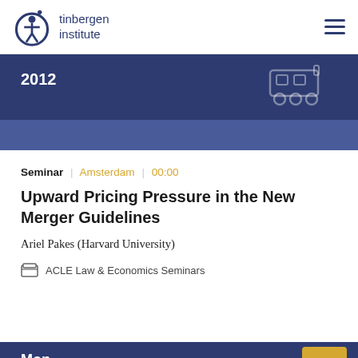tinbergen institute
2012
Seminar | Amsterdam | 00:00
Upward Pricing Pressure in the New Merger Guidelines
Ariel Pakes (Harvard University)
ACLE Law & Economics Seminars
Mon
February 27
2012